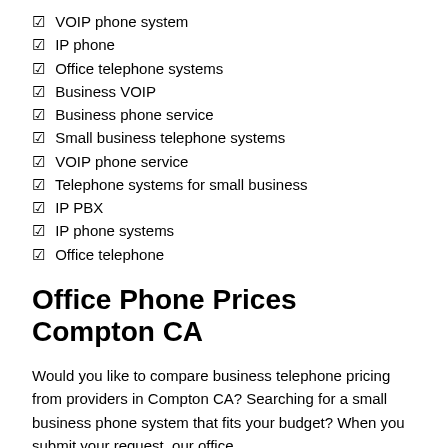VOIP phone system
IP phone
Office telephone systems
Business VOIP
Business phone service
Small business telephone systems
VOIP phone service
Telephone systems for small business
IP PBX
IP phone systems
Office telephone
Office Phone Prices Compton CA
Would you like to compare business telephone pricing from providers in Compton CA? Searching for a small business phone system that fits your budget? When you submit your request, our office